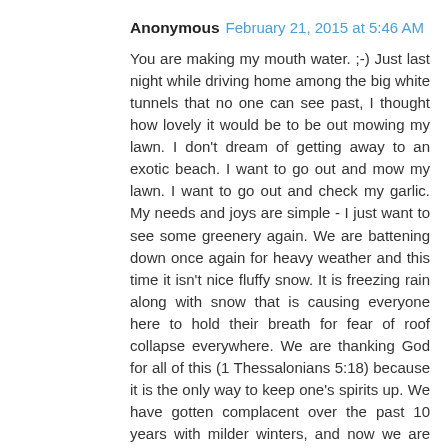Anonymous February 21, 2015 at 5:46 AM
You are making my mouth water. ;-) Just last night while driving home among the big white tunnels that no one can see past, I thought how lovely it would be to be out mowing my lawn. I don't dream of getting away to an exotic beach. I want to go out and mow my lawn. I want to go out and check my garlic. My needs and joys are simple - I just want to see some greenery again. We are battening down once again for heavy weather and this time it isn't nice fluffy snow. It is freezing rain along with snow that is causing everyone here to hold their breath for fear of roof collapse everywhere. We are thanking God for all of this (1 Thessalonians 5:18) because it is the only way to keep one's spirits up. We have gotten complacent over the past 10 years with milder winters, and now we are rethinking every angle for next winter. I'm keeping a list of things to do next year so I can do them before they become impossible (making all of my roofs easy to reach by removing overgrown trees, snow blowing around every structure and roof raking/shoveling after every storm no matter how insignificant). In case you didn't know, it's nearly impossible to clean a roof off while standing in 1 foot of snow. It is like